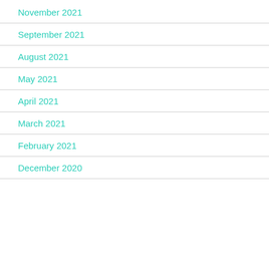November 2021
September 2021
August 2021
May 2021
April 2021
March 2021
February 2021
December 2020